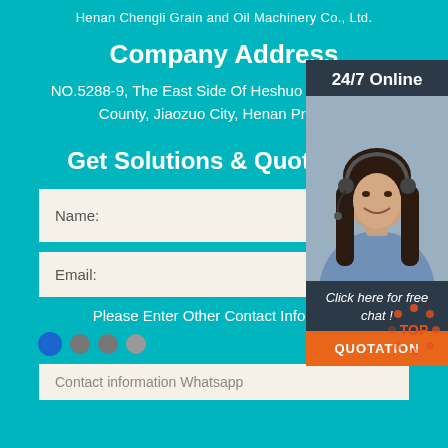Henan Chengli Grain and Oil Machinery Co., Ltd.
Company Address
NO.5288-9, The East Side Of Heshuo RD, Industrial County, Jiaozuo City, Henan Province
Get Solutions & Quotations
Name:
Email:
Please Enter Other Contact Information
[Figure (infographic): 24/7 Online chat panel with a woman wearing a headset, 'Click here for free chat!' text, and an orange QUOTATION button]
[Figure (infographic): TOP badge with orange dots arranged in a circle with a red dot in center]
Contact information Whatsapp